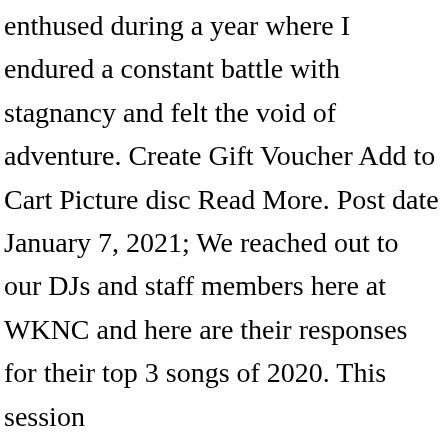enthused during a year where I endured a constant battle with stagnancy and felt the void of adventure. Create Gift Voucher Add to Cart Picture disc Read More. Post date January 7, 2021; We reached out to our DJs and staff members here at WKNC and here are their responses for their top 3 songs of 2020. This session (pu6n0gu6119f154js9ne9u9tt3) started 2021-01-22 12:19:19, (featuring Steve Lacy, Steve Arrington and Childish Gambino). It Is What It Is Track List: Lost in Space / Great Scott / 22-26